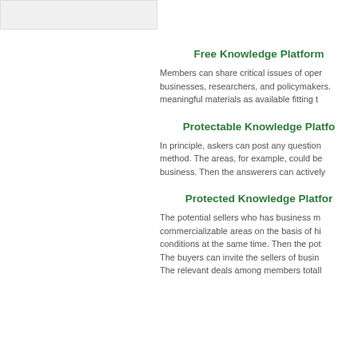Free Knowledge Platform
Members can share critical issues of oper businesses, researchers, and policymakers. meaningful materials as available fitting t
Protectable Knowledge Platfo
In principle, askers can post any question method. The areas, for example, could be business. Then the answerers can actively
Protected Knowledge Platfor
The potential sellers who has business m commercializable areas on the basis of hi conditions at the same time. Then the pot The buyers can invite the sellers of busin The relevant deals among members totall